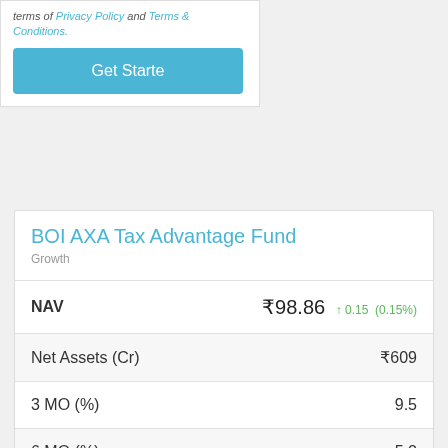terms of Privacy Policy and Terms & Conditions.
[Figure (screenshot): Get Started button (teal/blue background)]
BOI AXA Tax Advantage Fund
Growth
|  |  |
| --- | --- |
| NAV | ₹98.86  ↑ 0.15 (0.15%) |
| Net Assets (Cr) | ₹609 |
| 3 MO (%) | 9.5 |
| 6 MO (%) | 5.2 |
| 1 YR (%) | -0.4 |
| 3 YR (%) | 26.6 |
| 5 YR (%) | 14.6 |